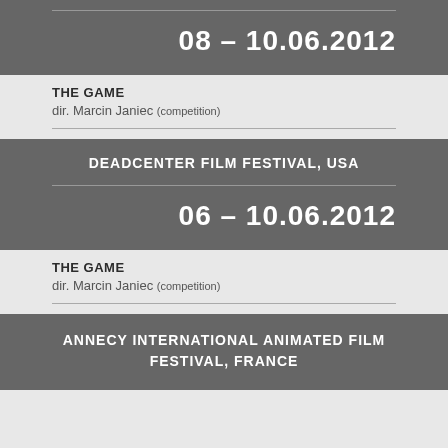08 – 10.06.2012
THE GAME
dir. Marcin Janiec (competition)
DEADCENTER FILM FESTIVAL, USA
06 – 10.06.2012
THE GAME
dir. Marcin Janiec (competition)
ANNECY INTERNATIONAL ANIMATED FILM FESTIVAL, FRANCE